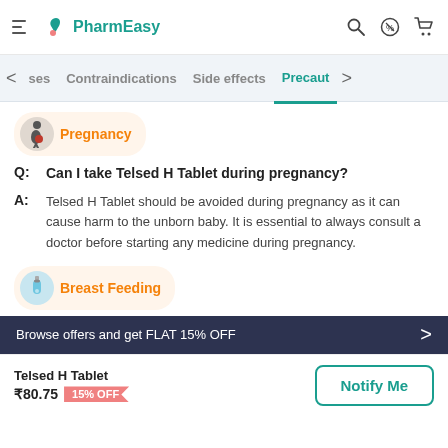PharmEasy
ses  Contraindications  Side effects  Precaut
Pregnancy
Q: Can I take Telsed H Tablet during pregnancy?
A: Telsed H Tablet should be avoided during pregnancy as it can cause harm to the unborn baby. It is essential to always consult a doctor before starting any medicine during pregnancy.
Breast Feeding
Browse offers and get FLAT 15% OFF
Telsed H Tablet ₹80.75  15% OFF
Notify Me